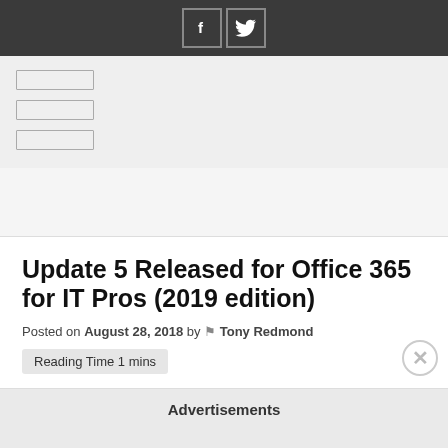[Figure (other): Dark top navigation bar with Facebook and Twitter social icon buttons (white icons in square outlines)]
[Figure (other): Navigation menu area showing three horizontal rectangle/button outlines (hamburger-style nav items)]
Update 5 Released for Office 365 for IT Pros (2019 edition)
Posted on August 28, 2018 by Tony Redmond
Reading Time 1 mins
Advertisements